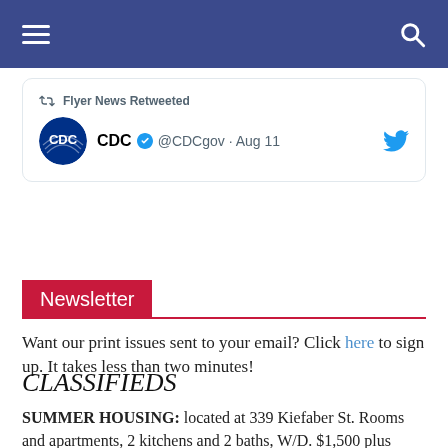[Figure (screenshot): Navigation bar with hamburger menu on left and search icon on right, dark blue/indigo background]
[Figure (screenshot): Twitter/social media embed card showing 'Flyer News Retweeted' and CDC @CDCgov tweet from Aug 11, with CDC logo on left and Twitter bird icon on right]
Newsletter
Want our print issues sent to your email? Click here to sign up. It takes less than two minutes!
CLASSIFIEDS
SUMMER HOUSING: located at 339 Kiefaber St. Rooms and apartments, 2 kitchens and 2 baths, W/D. $1,500 plus $350 deposit, utilities